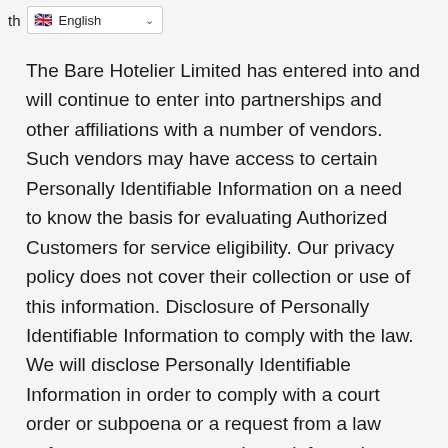th  English
The Bare Hotelier Limited has entered into and will continue to enter into partnerships and other affiliations with a number of vendors. Such vendors may have access to certain Personally Identifiable Information on a need to know the basis for evaluating Authorized Customers for service eligibility. Our privacy policy does not cover their collection or use of this information. Disclosure of Personally Identifiable Information to comply with the law. We will disclose Personally Identifiable Information in order to comply with a court order or subpoena or a request from a law enforcement agency to release information. We will also disclose